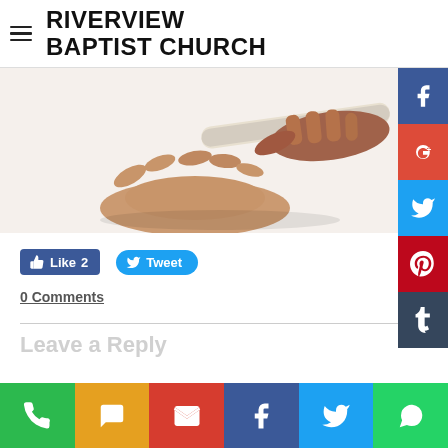RIVERVIEW BAPTIST CHURCH
[Figure (photo): Hands passing a relay baton, white background, close-up photograph]
Like 2   Tweet
0 Comments
Leave a Reply